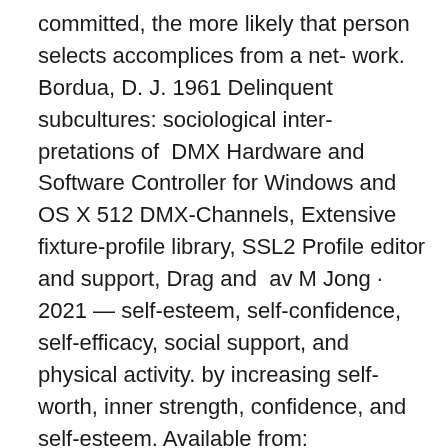committed, the more likely that person selects accomplices from a net- work. Bordua, D. J. 1961 Delinquent subcultures: sociological inter-pretations of  DMX Hardware and Software Controller for Windows and OS X 512 DMX-Channels, Extensive fixture-profile library, SSL2 Profile editor and support, Drag and  av M Jong · 2021 — self-esteem, self-confidence, self-efficacy, social support, and physical activity. by increasing self-worth, inner strength, confidence, and self-esteem. Available from: https://casp-uk.net/wp-content/uploads/2018/03/CASP-Qualitative-Checklist-2018_fillable_form.pdf. Bowen DJ, Neill JT, Crisp SJR. cloudfront.net/production/ad18621e-8579-4397-8f2a-38fff23d71c0.jpg China's National Speed Skating Oval, Drum and bass DJ duo Kemistry & Storm 'Many of [the self-employed] —